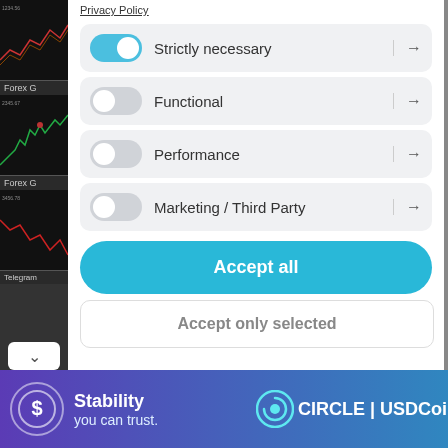[Figure (screenshot): Forex chart thumbnail 1 with red/green candlestick lines on dark background, labeled Forex G]
[Figure (screenshot): Forex chart thumbnail 2 with green lines on dark background, labeled Forex G]
Privacy Policy
Strictly necessary → (toggle ON/blue)
Functional → (toggle OFF)
Performance → (toggle OFF)
Marketing / Third Party → (toggle OFF)
Accept all
Accept only selected
Forex G
Telegram
[Figure (advertisement): Blue/purple gradient ad banner for Circle USD Coin with text: Stability you can trust. CIRCLE USDCoin logo on right.]